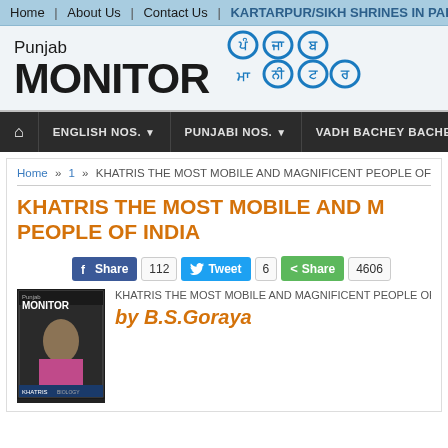Home | About Us | Contact Us | KARTARPUR/SIKH SHRINES IN PAKISTAN
[Figure (logo): Punjab Monitor logo with Gurmukhi script text above and large bold MONITOR wordmark below]
Home | ENGLISH NOS. ▼ | PUNJABI NOS. ▼ | VADH BACHEY BACHE PU
Home » 1 » KHATRIS THE MOST MOBILE AND MAGNIFICENT PEOPLE OF...
KHATRIS THE MOST MOBILE AND M... PEOPLE OF INDIA
Share 112  Tweet 6  Share 4606
KHATRIS THE MOST MOBILE AND MAGNIFICENT PEOPLE OF IN...
by B.S.Goraya